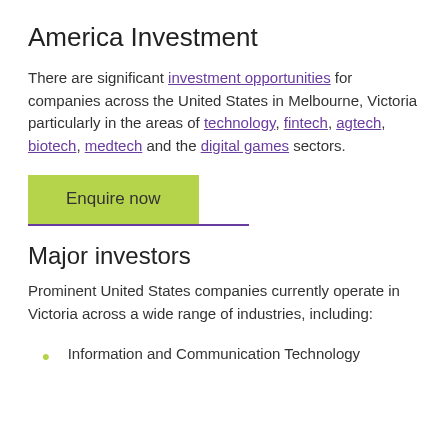America Investment
There are significant investment opportunities for companies across the United States in Melbourne, Victoria particularly in the areas of technology, fintech, agtech, biotech, medtech and the digital games sectors.
Enquire now
Major investors
Prominent United States companies currently operate in Victoria across a wide range of industries, including:
Information and Communication Technology